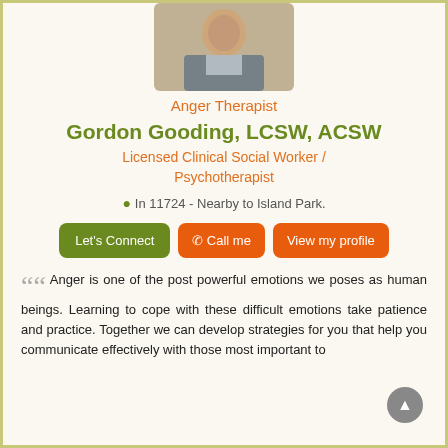[Figure (photo): Headshot photo of Gordon Gooding, a middle-aged man wearing a vest over a collared shirt]
Anger Therapist
Gordon Gooding, LCSW, ACSW
Licensed Clinical Social Worker / Psychotherapist
In 11724 - Nearby to Island Park.
Let's Connect  ☎ Call me  View my profile
Anger is one of the post powerful emotions we poses as human beings. Learning to cope with these difficult emotions take patience and practice. Together we can develop strategies for you that help you communicate effectively with those most important to